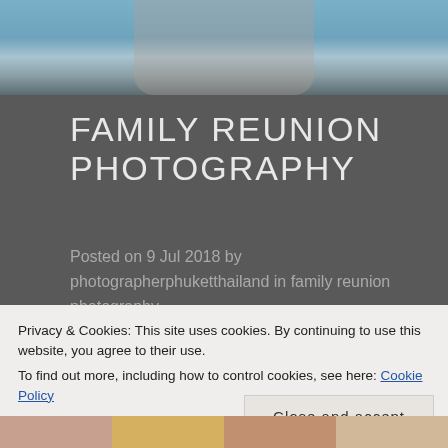[Figure (photo): Top banner photo showing people on a boat on the ocean]
FAMILY REUNION PHOTOGRAPHY
Posted on 9 Jul 2018 by photographerphuketthailand in family reunion photography
if you're looking for photographer to capture your moment with your family in Thailand, please feel  free
Privacy & Cookies: This site uses cookies. By continuing to use this website, you agree to their use.
To find out more, including how to control cookies, see here: Cookie Policy
Close and accept
[Figure (photo): Bottom strip showing thumbnail photos of people]